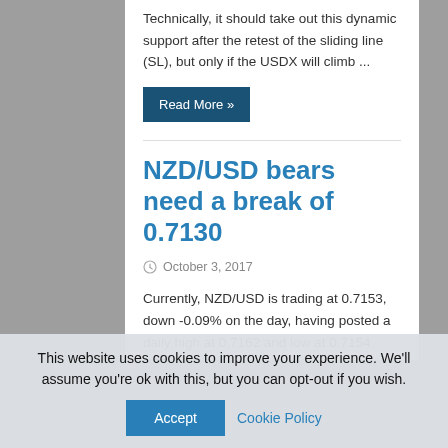Technically, it should take out this dynamic support after the retest of the sliding line (SL), but only if the USDX will climb ...
Read More »
NZD/USD bears need a break of 0.7130
October 3, 2017
Currently, NZD/USD is trading at 0.7153, down -0.09% on the day, having posted a daily high at 0.7162 and low at 0.7154. NZD/USD has stabilised after being the only real show overnight when the
This website uses cookies to improve your experience. We'll assume you're ok with this, but you can opt-out if you wish.
Accept
Cookie Policy